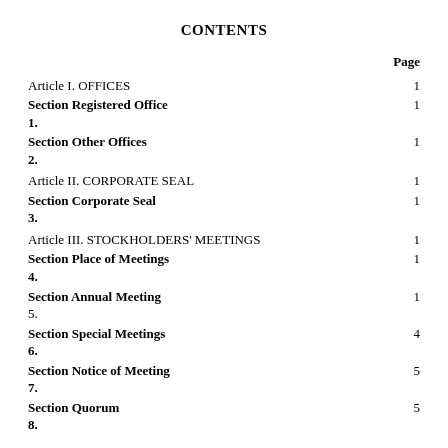CONTENTS
|  | Page |
| --- | --- |
| Article I. OFFICES | 1 |
| Section Registered Office
1. | 1 |
| Section Other Offices
2. | 1 |
| Article II. CORPORATE SEAL | 1 |
| Section Corporate Seal
3. | 1 |
| Article III. STOCKHOLDERS' MEETINGS | 1 |
| Section Place of Meetings
4. | 1 |
| Section Annual Meeting
5. | 1 |
| Section Special Meetings
6. | 4 |
| Section Notice of Meeting
7. | 5 |
| Section Quorum
8. | 5 |